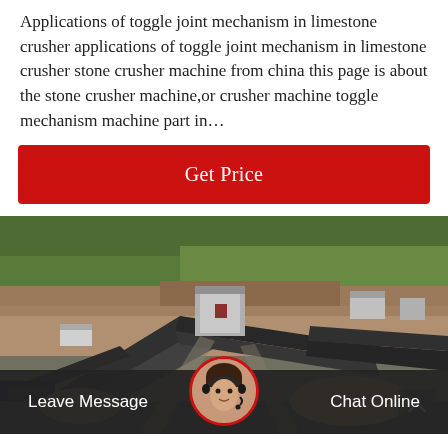Applications of toggle joint mechanism in limestone crusher applications of toggle joint mechanism in limestone crusher stone crusher machine from china this page is about the stone crusher machine,or crusher machine toggle mechanism machine part in…
[Figure (other): Red 'Get Price' button]
[Figure (photo): Aerial view of a limestone crusher / stone crushing plant facility with conveyor belts, buildings, machinery and earthworks visible from above. Trees and hills in background.]
Leave Message
Chat Online